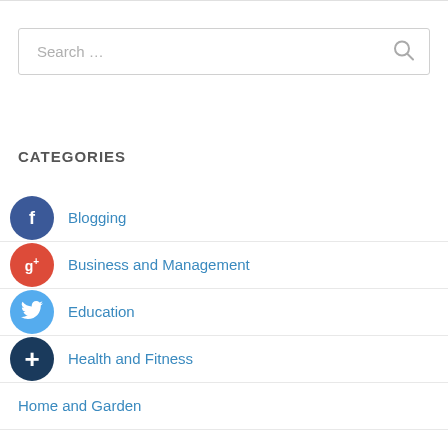Search ...
CATEGORIES
Blogging
Business and Management
Education
Health and Fitness
Home and Garden